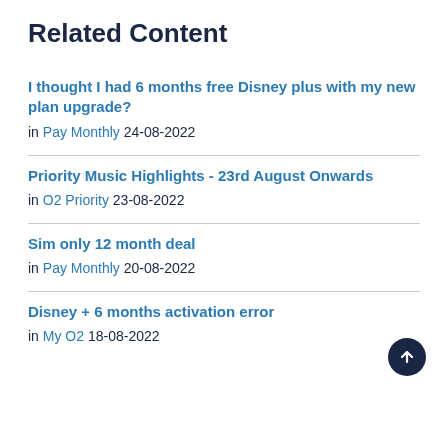Related Content
I thought I had 6 months free Disney plus with my new plan upgrade?
in Pay Monthly 24-08-2022
Priority Music Highlights - 23rd August Onwards
in O2 Priority 23-08-2022
Sim only 12 month deal
in Pay Monthly 20-08-2022
Disney + 6 months activation error
in My O2 18-08-2022